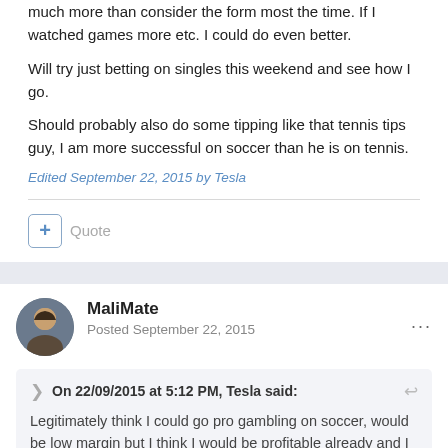much more than consider the form most the time. If I watched games more etc. I could do even better.
Will try just betting on singles this weekend and see how I go.
Should probably also do some tipping like that tennis tips guy, I am more successful on soccer than he is on tennis.
Edited September 22, 2015 by Tesla
+ Quote
MaliMate
Posted September 22, 2015
On 22/09/2015 at 5:12 PM, Tesla said:
Legitimately think I could go pro gambling on soccer, would be low margin but I think I would be profitable already and I